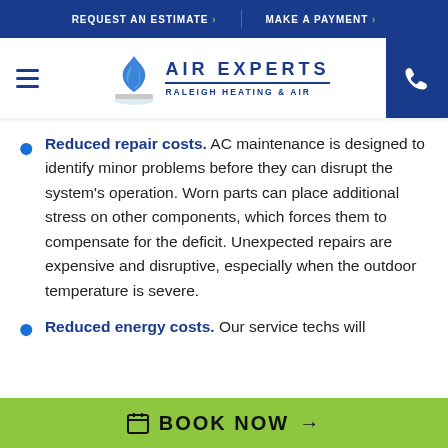REQUEST AN ESTIMATE > | MAKE A PAYMENT >
[Figure (logo): Air Experts Raleigh Heating & Air logo with flame/air icon and hamburger menu]
Reduced repair costs. AC maintenance is designed to identify minor problems before they can disrupt the system's operation. Worn parts can place additional stress on other components, which forces them to compensate for the deficit. Unexpected repairs are expensive and disruptive, especially when the outdoor temperature is severe.
Reduced energy costs. Our service techs will
BOOK NOW →